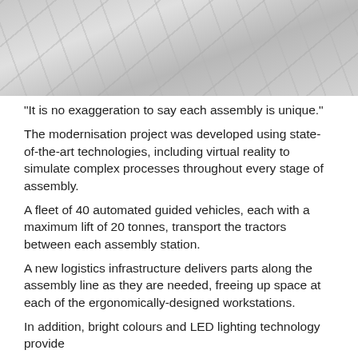[Figure (photo): Overhead view of a factory ceiling with scaffolding and structural framework, appearing grey and white]
"It is no exaggeration to say each assembly is unique."
The modernisation project was developed using state-of-the-art technologies, including virtual reality to simulate complex processes throughout every stage of assembly.
A fleet of 40 automated guided vehicles, each with a maximum lift of 20 tonnes, transport the tractors between each assembly station.
A new logistics infrastructure delivers parts along the assembly line as they are needed, freeing up space at each of the ergonomically-designed workstations.
In addition, bright colours and LED lighting technology provide